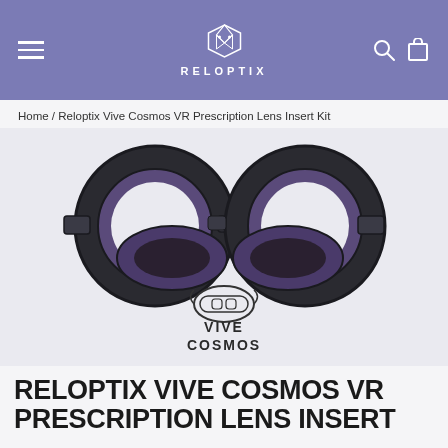RELOPTIX
Home / Reloptix Vive Cosmos VR Prescription Lens Insert Kit
[Figure (photo): Two VR prescription lens inserts (dark grey/black rings) for the HTC Vive Cosmos headset, shown side by side. Below them is a small line drawing of the Vive Cosmos headset with text 'VIVE COSMOS'.]
RELOPTIX VIVE COSMOS VR PRESCRIPTION LENS INSERT